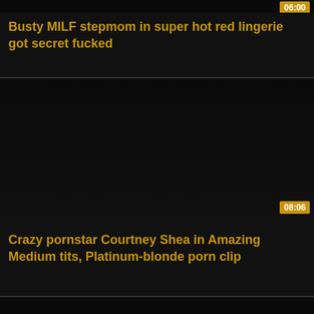[Figure (screenshot): Dark video thumbnail for first card (partial, cropped at top)]
Busty MILF stepmom in super hot red lingerie got secret fucked
[Figure (screenshot): Dark video thumbnail for second card]
Crazy pornstar Courtney Shea in Amazing Medium tits, Platinum-blonde porn clip
[Figure (screenshot): Dark video thumbnail for third card (partial, cropped at bottom)]